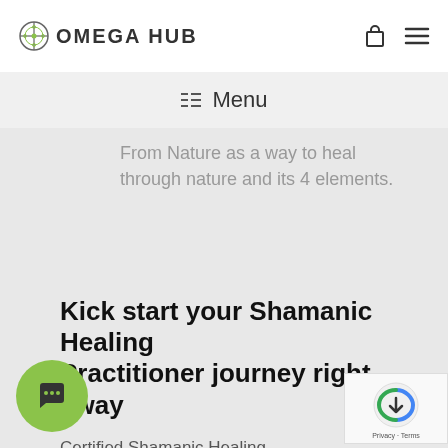OMEGA HUB
☰ Menu
From Nature as a way to heal through nature and its 4 elements.
Kick start your Shamanic Healing Practitioner journey right away
Certified Shamanic Healing